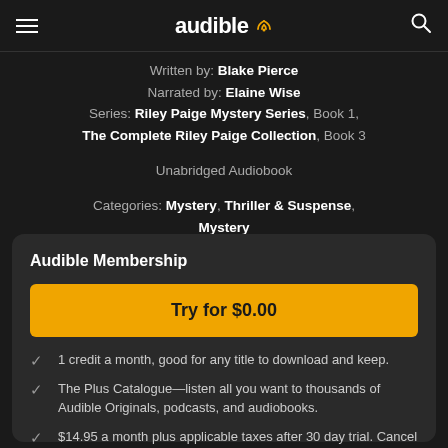audible
Written by: Blake Pierce
Narrated by: Elaine Wise
Series: Riley Paige Mystery Series, Book 1, The Complete Riley Paige Collection, Book 3
Unabridged Audiobook
Categories: Mystery, Thriller & Suspense, Mystery
[Figure (other): 4 filled stars and 1 empty star rating]
Audible Membership
Try for $0.00
1 credit a month, good for any title to download and keep.
The Plus Catalogue—listen all you want to thousands of Audible Originals, podcasts, and audiobooks.
$14.95 a month plus applicable taxes after 30 day trial. Cancel anytime.